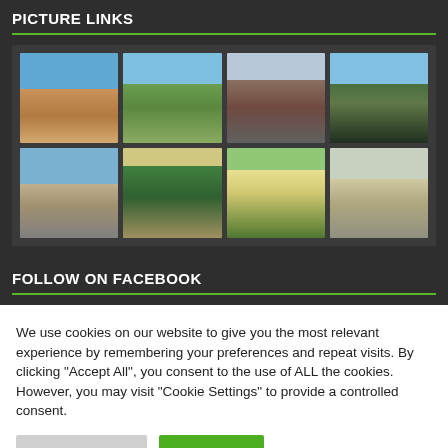PICTURE LINKS
[Figure (photo): Grid of 8 landscape/nature photos arranged in 2 rows of 4, showing volcanic landscapes, coastal scenery, green hills, wooden structures, and rural buildings]
FOLLOW ON FACEBOOK
We use cookies on our website to give you the most relevant experience by remembering your preferences and repeat visits. By clicking “Accept All”, you consent to the use of ALL the cookies. However, you may visit "Cookie Settings" to provide a controlled consent.
Cookie Settings | Accept All